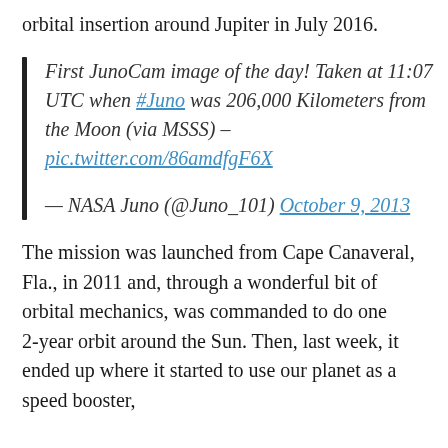orbital insertion around Jupiter in July 2016.
First JunoCam image of the day! Taken at 11:07 UTC when #Juno was 206,000 Kilometers from the Moon (via MSSS) – pic.twitter.com/86amdfgF6X

— NASA Juno (@Juno_101) October 9, 2013
The mission was launched from Cape Canaveral, Fla., in 2011 and, through a wonderful bit of orbital mechanics, was commanded to do one 2-year orbit around the Sun. Then, last week, it ended up where it started to use our planet as a speed booster,